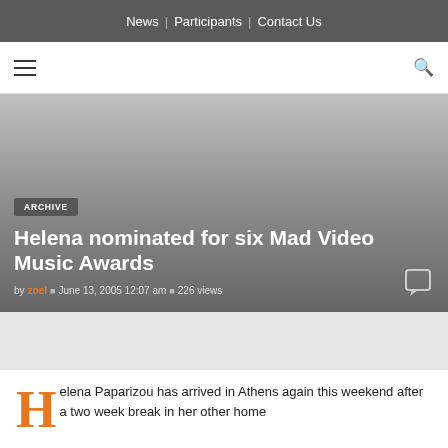News | Participants | Contact Us
≡   fl
ARCHIVE
Helena nominated for six Mad Video Music Awards
by zoel  June 13, 2005 12:07 am  226 views
Helena Paparizou has arrived in Athens again this weekend after a two week break in her other home...